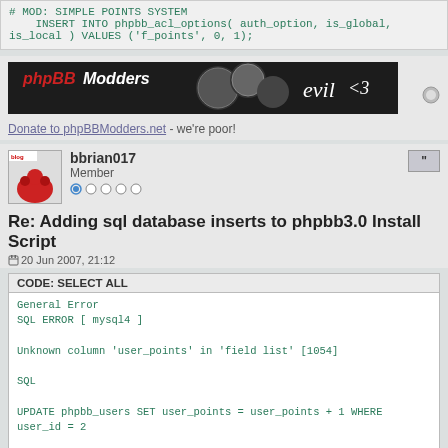# MOD: SIMPLE POINTS SYSTEM
    INSERT INTO phpbb_acl_options( auth_option, is_global, is_local ) VALUES ('f_points', 0, 1);
[Figure (illustration): phpBB Modders banner with evil23 logo on dark background]
Donate to phpBBModders.net - we're poor!
bbrian017
Member
Re: Adding sql database inserts to phpbb3.0 Install Script
20 Jun 2007, 21:12
CODE: SELECT ALL
General Error
SQL ERROR [ mysql4 ]

Unknown column 'user_points' in 'field list' [1054]

SQL

UPDATE phpbb_users SET user_points = user_points + 1 WHERE user_id = 2

BACKTRACE